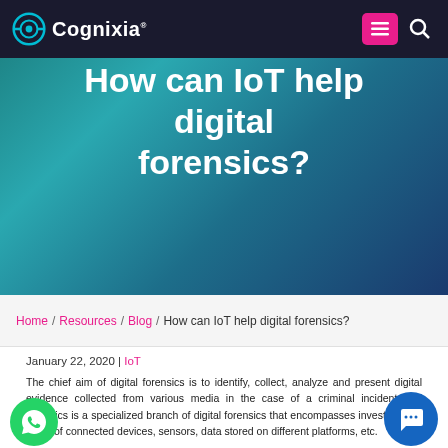Cognixia
How can IoT help digital forensics?
Home / Resources / Blog / How can IoT help digital forensics?
January 22, 2020 | IoT
The chief aim of digital forensics is to identify, collect, analyze and present digital evidence collected from various media in the case of a criminal incident. IoT forensics is a specialized branch of digital forensics that encompasses investigations using/of connected devices, sensors, data stored on different platforms, etc.
IoT or Internet of Things is a rapidly growing technology, creating countless opportunities and challenges for investigators looking into any type of crime, be it in cyberattacks or physical assaults. IoT environments are connected and dynamic, they can be altered anywhere without a hitch. IoT devices generally have a sensor or actuator that generates data – could be autonomously or as a response to specific manual actions, making them great digital